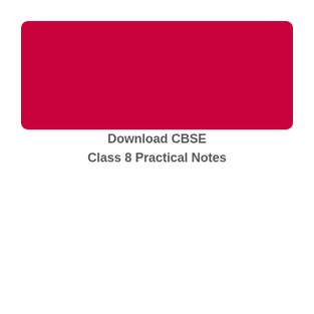[Figure (other): Red rounded rectangle banner at the top of the page]
Download CBSE
Class 8 Practical Notes